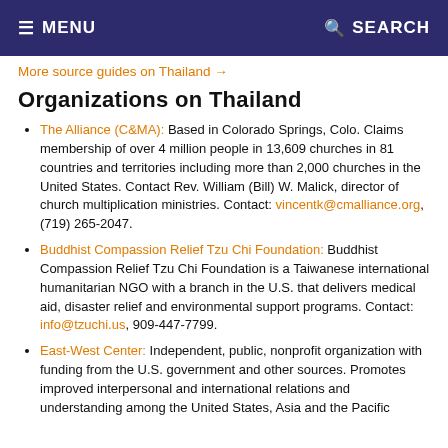MENU  SEARCH
More source guides on Thailand →
Organizations on Thailand
The Alliance (C&MA): Based in Colorado Springs, Colo. Claims membership of over 4 million people in 13,609 churches in 81 countries and territories including more than 2,000 churches in the United States. Contact Rev. William (Bill) W. Malick, director of church multiplication ministries. Contact: vincentk@cmalliance.org, (719) 265-2047.
Buddhist Compassion Relief Tzu Chi Foundation: Buddhist Compassion Relief Tzu Chi Foundation is a Taiwanese international humanitarian NGO with a branch in the U.S. that delivers medical aid, disaster relief and environmental support programs. Contact: info@tzuchi.us, 909-447-7799.
East-West Center: Independent, public, nonprofit organization with funding from the U.S. government and other sources. Promotes improved interpersonal and international relations and understanding among the United States, Asia and the Pacific